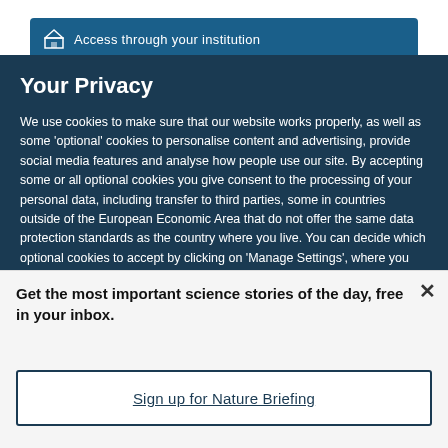[Figure (screenshot): Blue 'Access through your institution' button with building icon]
Your Privacy
We use cookies to make sure that our website works properly, as well as some 'optional' cookies to personalise content and advertising, provide social media features and analyse how people use our site. By accepting some or all optional cookies you give consent to the processing of your personal data, including transfer to third parties, some in countries outside of the European Economic Area that do not offer the same data protection standards as the country where you live. You can decide which optional cookies to accept by clicking on 'Manage Settings', where you can
Get the most important science stories of the day, free in your inbox.
Sign up for Nature Briefing